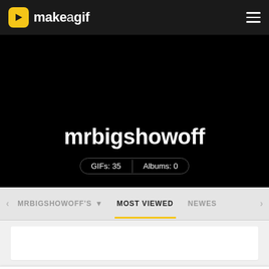makeagif — navigation bar with logo and hamburger menu
mrbigshowoff
GIFs: 35  |  Albums: 0
MRBIGSHOWOFF'S  MOST VIEWED  NEWES
[Figure (screenshot): White content preview card area]
Search a Gif